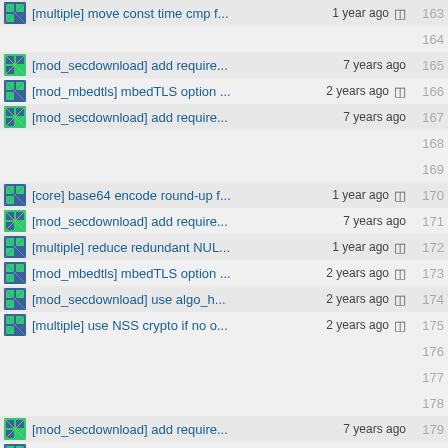[multiple] move const time cmp f... 1 year ago  163
164
[mod_secdownload] add require... 7 years ago  165
[mod_mbedtls] mbedTLS option ...2 years ago  166
[mod_secdownload] add require... 7 years ago  167
168
169
[core] base64 encode round-up f... 1 year ago  170
[mod_secdownload] add require... 7 years ago  171
[multiple] reduce redundant NUL... 1 year ago  172
[mod_mbedtls] mbedTLS option ...2 years ago  173
[mod_secdownload] use algo_h... 2 years ago  174
[multiple] use NSS crypto if no o...2 years ago  175
176
177
178
[mod_secdownload] add require... 7 years ago  179
[core] base64 encode round-up f... 1 year ago  180
[mod_secdownload] add require... 7 years ago  181
[mod_secdownload] use http_au...2 years ago  182
[multiple] move const time cmp f... 1 year ago  183